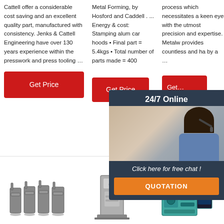Cattell offer a considerable cost saving and an excellent quality part, manufactured with consistency. Jenks & Cattell Engineering have over 130 years experience within the presswork and press tooling …
Metal Forming, by Hosford and Caddell . ... Energy & cost: Stamping alum car hoods • Final part = 5.4kgs • Total number of parts made = 400
process which necessitates a keen eye with the utmost precision and expertise. Metalwork provides countless and has by a …
[Figure (infographic): 24/7 Online chat widget with woman wearing headset, button: Click here for free chat!, QUOTATION button]
[Figure (photo): Metal press tooling parts - four grey metal stampings]
[Figure (photo): Industrial metal forming machine with hoses and equipment]
[Figure (infographic): Winman TOP logo with industrial machine]